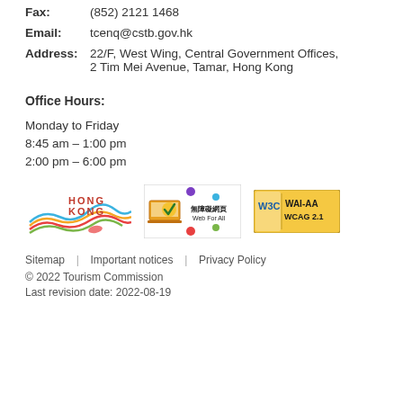Fax: (852) 2121 1468
Email: tcenq@cstb.gov.hk
Address: 22/F, West Wing, Central Government Offices, 2 Tim Mei Avenue, Tamar, Hong Kong
Office Hours:
Monday to Friday
8:45 am – 1:00 pm
2:00 pm – 6:00 pm
[Figure (logo): Hong Kong Tourism Commission logo with colourful wave design and HONG KONG text]
[Figure (logo): Web For All accessibility badge with checkmark icon and Chinese text]
[Figure (logo): W3C WAI-AA WCAG 2.1 accessibility compliance badge]
Sitemap | Important notices | Privacy Policy
© 2022 Tourism Commission
Last revision date: 2022-08-19